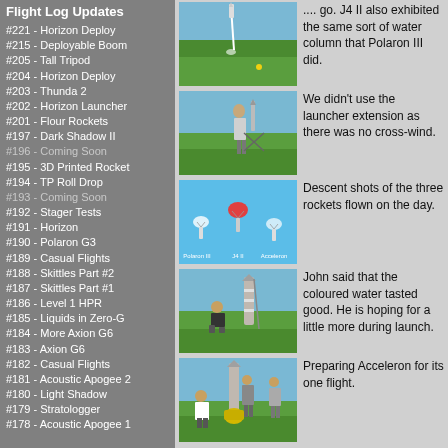Flight Log Updates
#221 - Horizon Deploy
#215 - Deployable Boom
#205 - Tall Tripod
#204 - Horizon Deploy
#203 - Thunda 2
#202 - Horizon Launcher
#201 - Flour Rockets
#197 - Dark Shadow II
#196 - Coming Soon
#195 - 3D Printed Rocket
#194 - TP Roll Drop
#193 - Coming Soon
#192 - Stager Tests
#191 - Horizon
#190 - Polaron G3
#189 - Casual Flights
#188 - Skittles Part #2
#187 - Skittles Part #1
#186 - Level 1 HPR
#185 - Liquids in Zero-G
#184 - More Axion G6
#183 - Axion G6
#182 - Casual Flights
#181 - Acoustic Apogee 2
#180 - Light Shadow
#179 - Stratologger
#178 - Acoustic Apogee 1
[Figure (photo): Rocket launching into sky over grassy field]
.... go. J4 II also exhibited the same sort of water column that Polaron III did.
[Figure (photo): Person standing next to rocket on launch pad in field]
We didn't use the launcher extension as there was no cross-wind.
[Figure (photo): Descent shots of three rockets on blue background]
Descent shots of the three rockets flown on the day.
[Figure (photo): Person crouching next to rocket in field]
John said that the coloured water tasted good. He is hoping for a little more during launch.
[Figure (photo): People preparing Acceleron rocket]
Preparing Acceleron for its one flight.